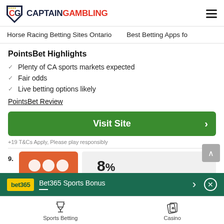CaptainGambling
Horse Racing Betting Sites Ontario   Best Betting Apps fo
PointsBet Highlights
Plenty of CA sports markets expected
Fair odds
Live betting options likely
PointsBet Review
Visit Site
+19 T&Cs Apply, Please play responsibly
9.
Bet365 Sports Bonus
Sports Betting
Casino